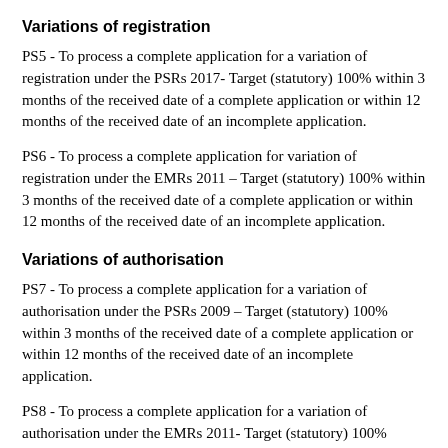Variations of registration
PS5 - To process a complete application for a variation of registration under the PSRs 2017- Target (statutory) 100% within 3 months of the received date of a complete application or within 12 months of the received date of an incomplete application.
PS6 - To process a complete application for variation of registration under the EMRs 2011 – Target (statutory) 100% within 3 months of the received date of a complete application or within 12 months of the received date of an incomplete application.
Variations of authorisation
PS7 - To process a complete application for a variation of authorisation under the PSRs 2009 – Target (statutory) 100% within 3 months of the received date of a complete application or within 12 months of the received date of an incomplete application.
PS8 - To process a complete application for a variation of authorisation under the EMRs 2011- Target (statutory) 100% within 3 months of the received date of a complete application or within 12 months of the received date of an incomplete application.